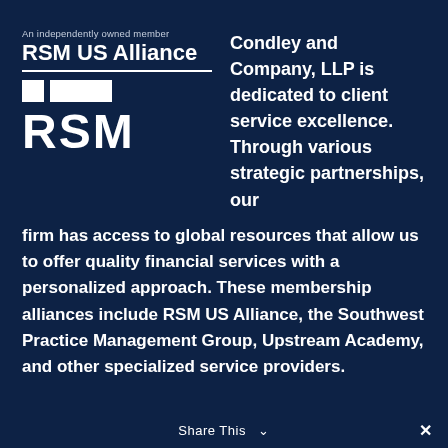[Figure (logo): RSM US Alliance logo with tagline 'An independently owned member', horizontal rule, two white rectangles, and RSM wordmark in bold white on dark navy background]
Condley and Company, LLP is dedicated to client service excellence. Through various strategic partnerships, our firm has access to global resources that allow us to offer quality financial services with a personalized approach. These membership alliances include RSM US Alliance, the Southwest Practice Management Group, Upstream Academy, and other specialized service providers.
Share This  ∨  ✕